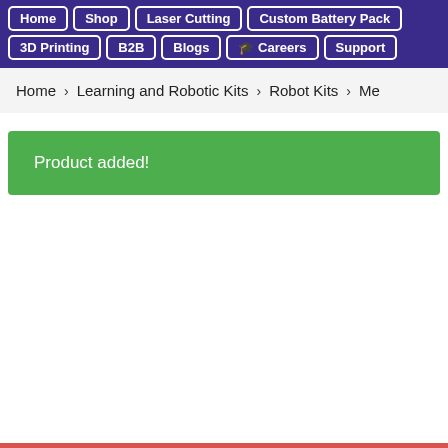Home | Shop | Laser Cutting | Custom Battery Pack | 3D Printing | B2B | Blogs | Careers | Support
Home > Learning and Robotic Kits > Robot Kits > Me
Product added!